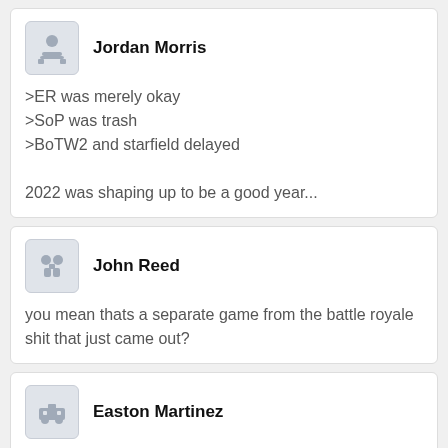Jordan Morris
>ER was merely okay
>SoP was trash
>BoTW2 and starfield delayed

2022 was shaping up to be a good year...
John Reed
you mean thats a separate game from the battle royale shit that just came out?
Easton Martinez
F4 was announced and released in the span of 6 months
Ryan Thomas